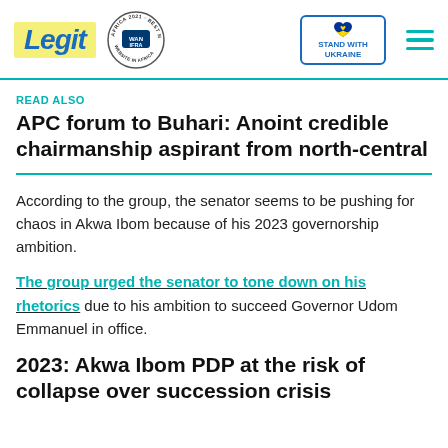Legit | WAN IFRA 2021 Best News Website in Africa | Stand With Ukraine
READ ALSO
APC forum to Buhari: Anoint credible chairmanship aspirant from north-central
According to the group, the senator seems to be pushing for chaos in Akwa Ibom because of his 2023 governorship ambition.
The group urged the senator to tone down on his rhetorics due to his ambition to succeed Governor Udom Emmanuel in office.
2023: Akwa Ibom PDP at the risk of collapse over succession crisis